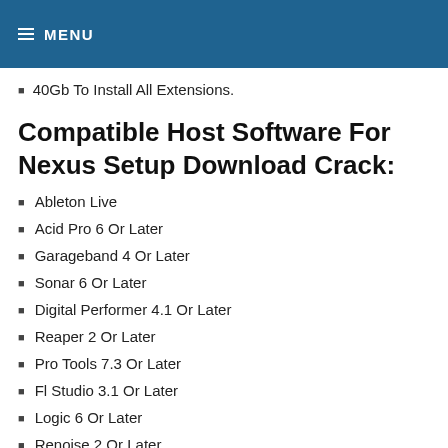MENU
40Gb To Install All Extensions.
Compatible Host Software For Nexus Setup Download Crack:
Ableton Live
Acid Pro 6 Or Later
Garageband 4 Or Later
Sonar 6 Or Later
Digital Performer 4.1 Or Later
Reaper 2 Or Later
Pro Tools 7.3 Or Later
Fl Studio 3.1 Or Later
Logic 6 Or Later
Renoise 2 Or Later
Orion 5 Or Later